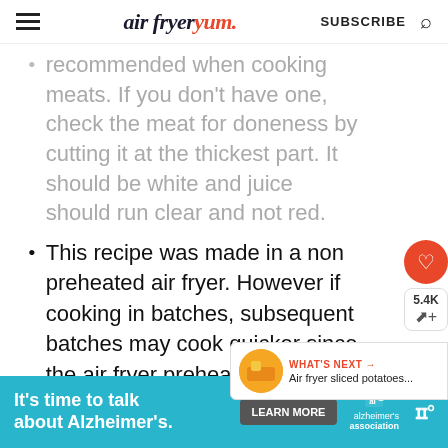air fryer yum. SUBSCRIBE
recommended when cooking meats. If you don't have one, check the meat for doneness by cutting it at the thickest part. It should be white and juice should run clear and not red.
This recipe was made in a non preheated air fryer. However if cooking in batches, subsequent batches may cook quicker since the air fryer preheated during the first batch.
[Figure (infographic): Ad banner: It's time to talk about Alzheimer's. Learn More button. Alzheimer's Association logo.]